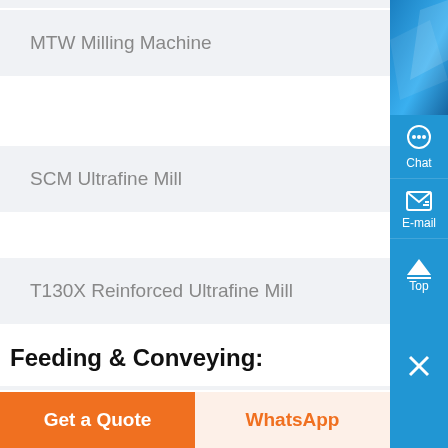MTW Milling Machine
SCM Ultrafine Mill
T130X Reinforced Ultrafine Mill
Feeding & Conveying:
Belt Conveyor
BWZ Heavy Duty Apron Feeder